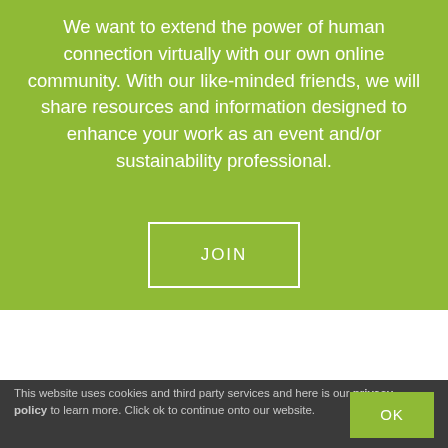We want to extend the power of human connection virtually with our own online community. With our like-minded friends, we will share resources and information designed to enhance your work as an event and/or sustainability professional.
JOIN
This website uses cookies and third party services and here is our privacy policy to learn more. Click ok to continue onto our website.
OK